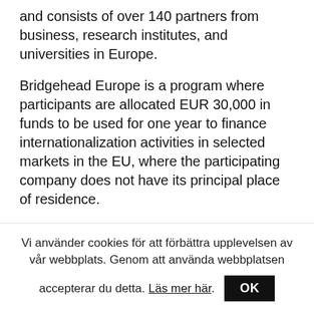and consists of over 140 partners from business, research institutes, and universities in Europe.
Bridgehead Europe is a program where participants are allocated EUR 30,000 in funds to be used for one year to finance internationalization activities in selected markets in the EU, where the participating company does not have its principal place of residence.
– Being selected as participants shows that important decision-makers in other countries see our solutions as interesting and that there is
Vi använder cookies för att förbättra upplevelsen av vår webbplats. Genom att använda webbplatsen accepterar du detta. Läs mer här. OK